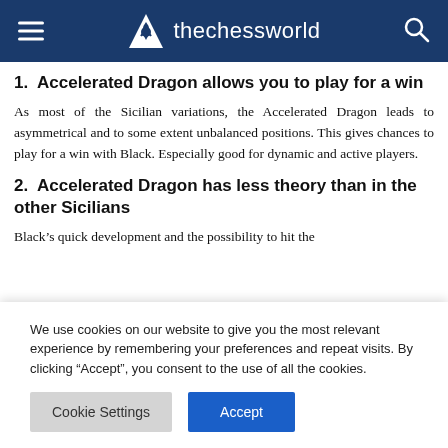thechessworld
1.  Accelerated Dragon allows you to play for a win
As most of the Sicilian variations, the Accelerated Dragon leads to asymmetrical and to some extent unbalanced positions. This gives chances to play for a win with Black. Especially good for dynamic and active players.
2.  Accelerated Dragon has less theory than in the other Sicilians
Black’s quick development and the possibility to hit the
We use cookies on our website to give you the most relevant experience by remembering your preferences and repeat visits. By clicking “Accept”, you consent to the use of all the cookies.